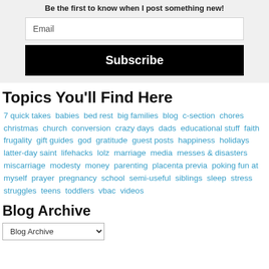Be the first to know when I post something new!
Email
Subscribe
Topics You'll Find Here
7 quick takes babies bed rest big families blog c-section chores christmas church conversion crazy days dads educational stuff faith frugality gift guides god gratitude guest posts happiness holidays latter-day saint lifehacks lolz marriage media messes & disasters miscarriage modesty money parenting placenta previa poking fun at myself prayer pregnancy school semi-useful siblings sleep stress struggles teens toddlers vbac videos
Blog Archive
Blog Archive